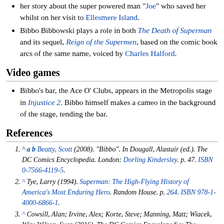her story about the super powered man "Joe" who saved her whilst on her visit to Ellesmere Island.
Bibbo Bibbowski plays a role in both The Death of Superman and its sequel, Reign of the Supermen, based on the comic book arcs of the same name, voiced by Charles Halford.
Video games
Bibbo's bar, the Ace O' Clubs, appears in the Metropolis stage in Injustice 2. Bibbo himself makes a cameo in the background of the stage, tending the bar.
References
^ a b Beatty, Scott (2008). "Bibbo". In Dougall, Alastair (ed.). The DC Comics Encyclopedia. London: Dorling Kindersley. p. 47. ISBN 0-7566-4119-5.
^ Tye, Larry (1994). Superman: The High-Flying History of America's Most Enduring Hero. Random House. p. 264. ISBN 978-1-4000-6866-1.
^ Cowsill, Alan; Irvine, Alex; Korte, Steve; Manning, Matt; Wiacek, Win; Wilson, Sven (2016). The DC Comics Encyclopedia: The Definitive Guide to the Characters of the